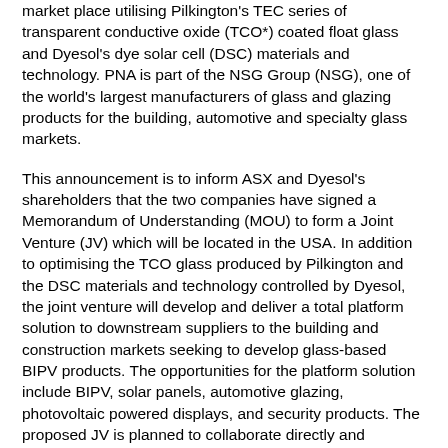market place utilising Pilkington's TEC series of transparent conductive oxide (TCO*) coated float glass and Dyesol's dye solar cell (DSC) materials and technology. PNA is part of the NSG Group (NSG), one of the world's largest manufacturers of glass and glazing products for the building, automotive and specialty glass markets.
This announcement is to inform ASX and Dyesol's shareholders that the two companies have signed a Memorandum of Understanding (MOU) to form a Joint Venture (JV) which will be located in the USA. In addition to optimising the TCO glass produced by Pilkington and the DSC materials and technology controlled by Dyesol, the joint venture will develop and deliver a total platform solution to downstream suppliers to the building and construction markets seeking to develop glass-based BIPV products. The opportunities for the platform solution include BIPV, solar panels, automotive glazing, photovoltaic powered displays, and security products. The proposed JV is planned to collaborate directly and indirectly with and assist organisations worldwide to bring products to market. The combination of Pilkington's leading expertise in TCO glass, including their vast experience in the manufacture and...